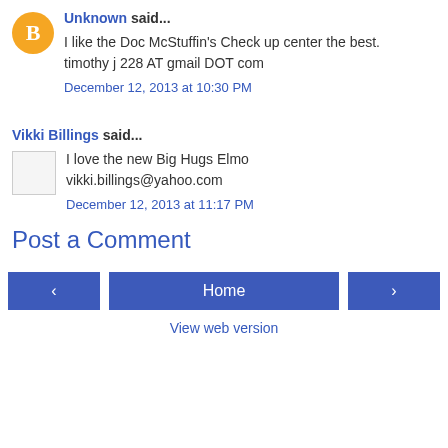Unknown said... I like the Doc McStuffin's Check up center the best. timothy j 228 AT gmail DOT com
December 12, 2013 at 10:30 PM
Vikki Billings said... I love the new Big Hugs Elmo vikki.billings@yahoo.com
December 12, 2013 at 11:17 PM
Post a Comment
< Home > View web version